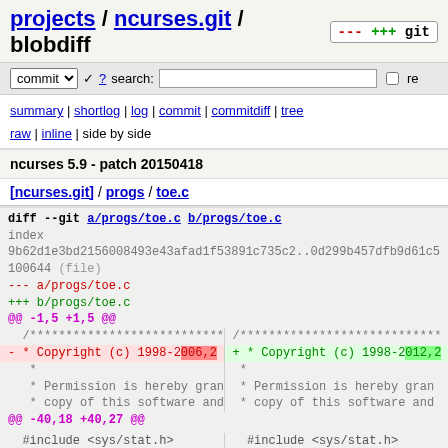projects / ncurses.git / blobdiff
commit ? search: re
summary | shortlog | log | commit | commitdiff | tree
raw | inline | side by side
ncurses 5.9 - patch 20150418
[ncurses.git] / progs / toe.c
diff --git a/progs/toe.c b/progs/toe.c
index 9b62d1e3bd2156008493e43afad1f53891c735c2..0d299b457dfb9d61c5
100644 (file)
--- a/progs/toe.c
+++ b/progs/toe.c
@@ -1,5 +1,5 @@
 /****************************  /****************************
- * Copyright (c) 1998-2006,2+ * Copyright (c) 1998-2012,2
 *                             *
 * Permission is hereby gran  * Permission is hereby gran
 * copy of this software and  * copy of this software and
@@ -40,18 +40,27 @@

 #include <sys/stat.h>          #include <sys/stat.h>

-#include <dump_entry.h>